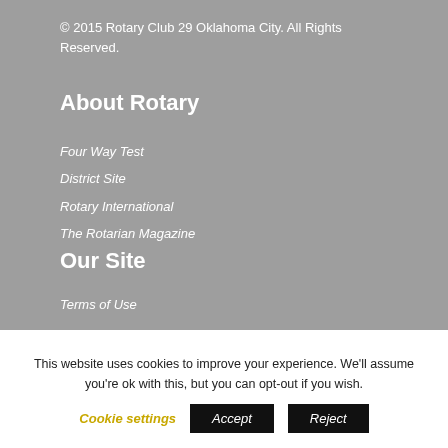© 2015 Rotary Club 29 Oklahoma City. All Rights Reserved.
About Rotary
Four Way Test
District Site
Rotary International
The Rotarian Magazine
Our Site
Terms of Use
This website uses cookies to improve your experience. We'll assume you're ok with this, but you can opt-out if you wish.
Cookie settings | Accept | Reject